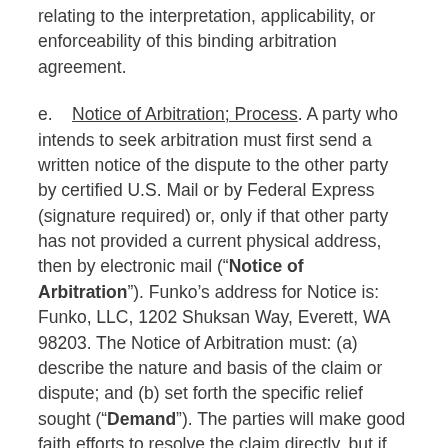relating to the interpretation, applicability, or enforceability of this binding arbitration agreement.
e. Notice of Arbitration; Process. A party who intends to seek arbitration must first send a written notice of the dispute to the other party by certified U.S. Mail or by Federal Express (signature required) or, only if that other party has not provided a current physical address, then by electronic mail (“Notice of Arbitration”). Funko’s address for Notice is: Funko, LLC, 1202 Shuksan Way, Everett, WA 98203. The Notice of Arbitration must: (a) describe the nature and basis of the claim or dispute; and (b) set forth the specific relief sought (“Demand”). The parties will make good faith efforts to resolve the claim directly, but if the parties do not reach an agreement to do so within 30 days after the Notice of Arbitration is